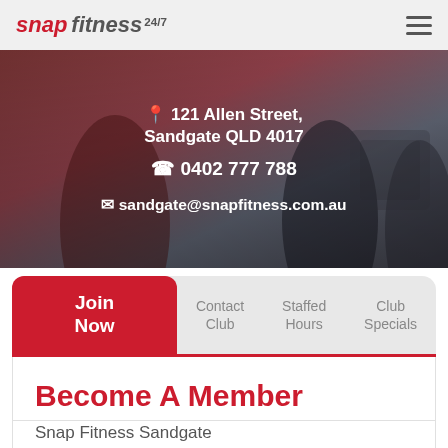snap fitness 24/7
[Figure (photo): Two women exercising in a gym, high-fiving or greeting, with gym equipment in the background. Overlay text shows address, phone, and email for Snap Fitness Sandgate.]
📍 121 Allen Street, Sandgate QLD 4017
📞 0402 777 788
✉ sandgate@snapfitness.com.au
Join Now | Contact Club | Staffed Hours | Club Specials
Become A Member
Snap Fitness Sandgate